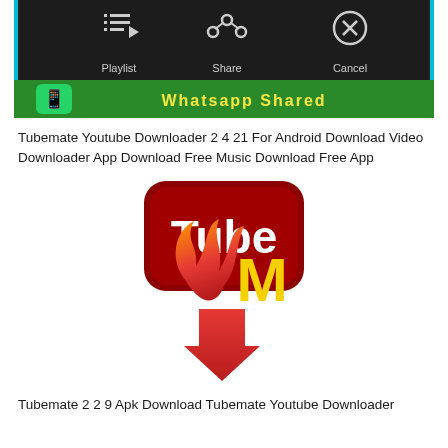[Figure (screenshot): Screenshot of a mobile app interface showing Playlist, Share, and Cancel buttons on a dark background, with a WhatsApp-style banner below.]
Tubemate Youtube Downloader 2 4 21 For Android Download Video Downloader App Download Free Music Download Free App
[Figure (logo): TubeMate logo: dark red rounded square with 'Tube' in white bold text and 'M' in yellow bold text, with a flame and downward arrow icon in red/orange gradient.]
Tubemate 2 2 9 Apk Download Tubemate Youtube Downloader